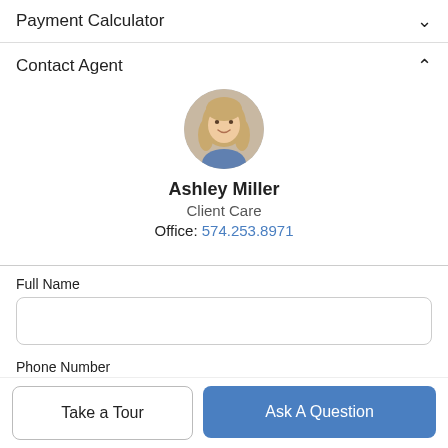Payment Calculator
Contact Agent
[Figure (photo): Circular profile photo of Ashley Miller, a woman with long blonde hair, smiling.]
Ashley Miller
Client Care
Office: 574.253.8971
Full Name
Phone Number
Take a Tour
Ask A Question